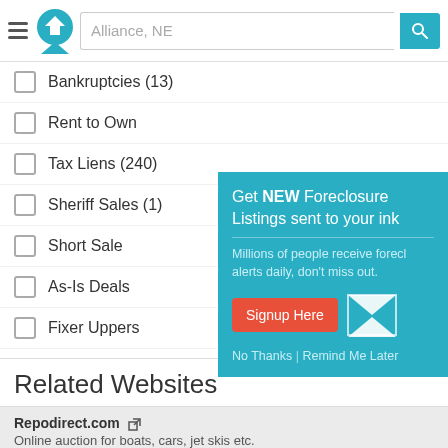Alliance, NE
Bankruptcies (13)
Rent to Own
Tax Liens (240)
Sheriff Sales (1)
Short Sale
As-Is Deals
Fixer Uppers
City Owned
Remember, we update our listings daily!
Related Websites
Repodirect.com
Online auction for boats, cars, jet skis etc.
[Figure (infographic): Popup modal with teal background: 'Get NEW Foreclosure Listings sent to your inbox'. Subtitle: 'Millions of people receive foreclosure alerts daily, don't miss out.' Red 'Signup Here' button, envelope icon, and 'No Thanks | Remind Me Later' footer links.]